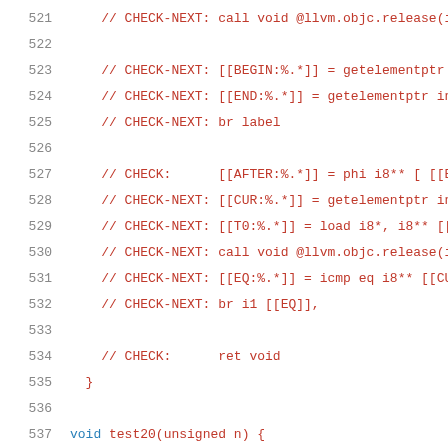521  // CHECK-NEXT: call void @llvm.objc.release(i
522
523      // CHECK-NEXT: [[BEGIN:%.*]] = getelementptr
524      // CHECK-NEXT: [[END:%.*]] = getelementptr in
525      // CHECK-NEXT: br label
526
527      // CHECK:      [[AFTER:%.*]] = phi i8** [ [[E
528      // CHECK-NEXT: [[CUR:%.*]] = getelementptr in
529      // CHECK-NEXT: [[T0:%.*]] = load i8*, i8** [[
530      // CHECK-NEXT: call void @llvm.objc.release(i
531      // CHECK-NEXT: [[EQ:%.*]] = icmp eq i8** [[CU
532      // CHECK-NEXT: br i1 [[EQ]],
533
534      // CHECK:      ret void
535  }
536
537  void test20(unsigned n) {
538      // CHECK-LABEL: define void @test20
539      // CHECK:      [[N:%.*]] = alloca i32, align
540      // CHECK-NEXT: [[SAVED_STACK:%.*]] = alloca i
541      // CHECK-NEXT: [[VLA_EXPR:%.*]] = alloca i64,